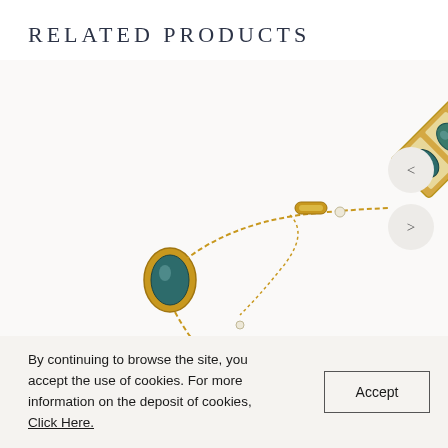RELATED PRODUCTS
[Figure (photo): Gold bracelet with oval teal/blue gemstone cabochons and pearl accents, shown on white background. The bracelet features a decorative rectangular link panel with multiple blue-green stones and connected chain segments.]
By continuing to browse the site, you accept the use of cookies. For more information on the deposit of cookies, Click Here.
Accept